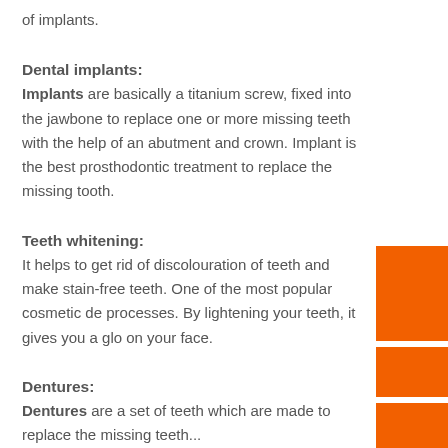of implants.
Dental implants:
Implants are basically a titanium screw, fixed into the jawbone to replace one or more missing teeth with the help of an abutment and crown. Implant is the best prosthodontic treatment to replace the missing tooth.
Teeth whitening:
It helps to get rid of discolouration of teeth and make stain-free teeth. One of the most popular cosmetic de processes. By lightening your teeth, it gives you a glo on your face.
Dentures:
Dentures are a set of teeth which are made to replace the missing teeth...